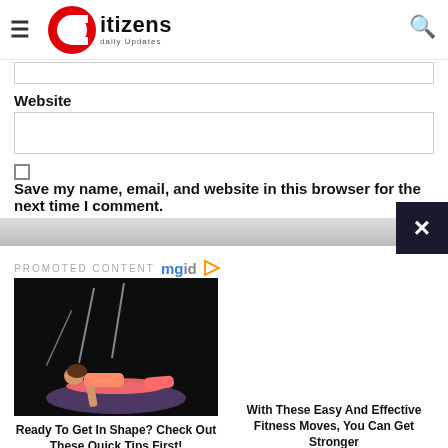Citizens daily Updates
Website
Save my name, email, and website in this browser for the next time I comment.
PROMOTED CONTENT mgid
[Figure (photo): Woman doing a plank exercise on a colorful mat in a dark room with light streaks above her]
Ready To Get In Shape? Check Out These Quick Tips First!
With These Easy And Effective Fitness Moves, You Can Get Stronger